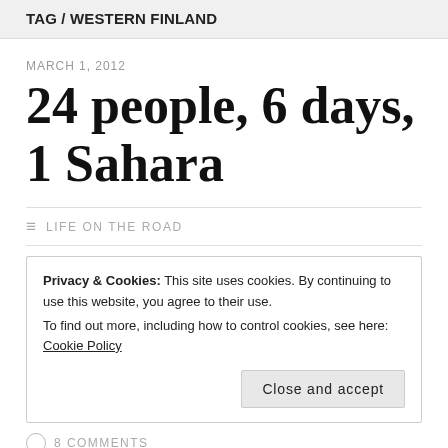TAG / WESTERN FINLAND
MARCH 1, 2012
24 people, 6 days, 1 Sahara
LIFE ON THE ROAD
Privacy & Cookies: This site uses cookies. By continuing to use this website, you agree to their use.
To find out more, including how to control cookies, see here: Cookie Policy
Close and accept